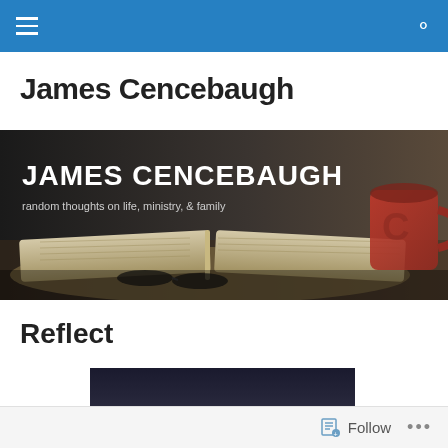James Cencebaugh – navigation bar with hamburger menu and search icon
James Cencebaugh
[Figure (photo): Blog header banner showing an open Bible with glasses resting on it and a red coffee mug in the right corner, on a dark wooden surface. Text overlay reads 'JAMES CENCEBAUGH' and 'random thoughts on life, ministry, & family']
Reflect
[Figure (photo): Partial dark-toned article thumbnail image, cut off at bottom of page]
Follow   •••